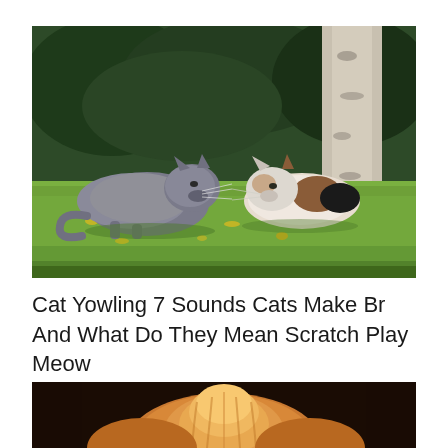[Figure (photo): Two cats facing each other on grass outdoors. A grey fluffy cat on the left crouches low on green grass with yellow fallen leaves. On the right, a white and brown/black cat faces it. Dark green trees and a birch tree trunk are visible in the background.]
Cat Yowling 7 Sounds Cats Make Br And What Do They Mean Scratch Play Meow
[Figure (photo): Close-up of a fluffy orange/ginger long-haired cat viewed from above against a dark brown/black background, showing the top of its head and fur.]